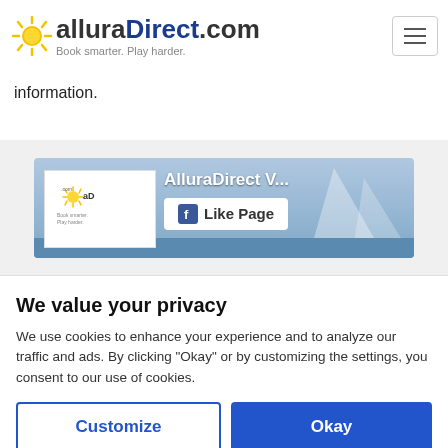alluraDirect.com — Book smarter. Play harder.
information.
[Figure (screenshot): Facebook Like Page widget for AlluraDirect V... with aD.com logo on left and Like Page button]
We value your privacy
We use cookies to enhance your experience and to analyze our traffic and ads. By clicking "Okay" or by customizing the settings, you consent to our use of cookies.